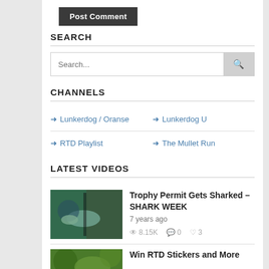[Figure (screenshot): Post Comment button - dark gray rectangle with white bold text]
SEARCH
[Figure (screenshot): Search input field with placeholder 'Search...' and a search icon button on the right]
CHANNELS
Lunkerdog / Oranse
Lunkerdog U
RTD Playlist
The Mullet Run
LATEST VIDEOS
[Figure (photo): Thumbnail of a person holding a large fish (permit) on a boat]
Trophy Permit Gets Sharked – SHARK WEEK
7 years ago
8.15K views · 0 comments · 3 likes
[Figure (photo): Thumbnail of tropical foliage, partially visible]
Win RTD Stickers and More